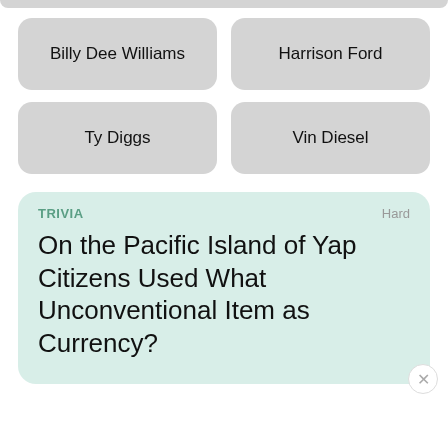[Figure (screenshot): Top partial grey rounded rectangle bar at top of page]
Billy Dee Williams
Harrison Ford
Ty Diggs
Vin Diesel
TRIVIA
Hard
On the Pacific Island of Yap Citizens Used What Unconventional Item as Currency?